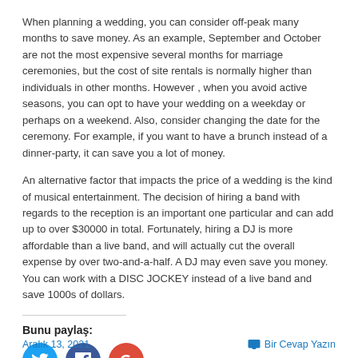When planning a wedding, you can consider off-peak many months to save money. As an example, September and October are not the most expensive several months for marriage ceremonies, but the cost of site rentals is normally higher than individuals in other months. However , when you avoid active seasons, you can opt to have your wedding on a weekday or perhaps on a weekend. Also, consider changing the date for the ceremony. For example, if you want to have a brunch instead of a dinner-party, it can save you a lot of money.
An alternative factor that impacts the price of a wedding is the kind of musical entertainment. The decision of hiring a band with regards to the reception is an important one particular and can add up to over $30000 in total. Fortunately, hiring a DJ is more affordable than a live band, and will actually cut the overall expense by over two-and-a-half. A DJ may even save you money. You can work with a DISC JOCKEY instead of a live band and save 1000s of dollars.
Bunu paylaş:
[Figure (other): Social media sharing icons: Twitter (blue circle), Facebook (dark blue circle), Google+ (red circle)]
Aralık 13, 2021   Bir Cevap Yazın